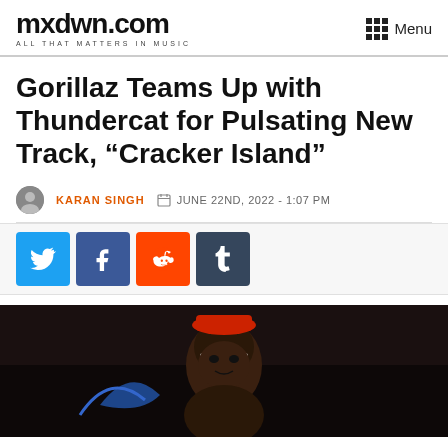mxdwn.com ALL THAT MATTERS IN MUSIC | Menu
Gorillaz Teams Up with Thundercat for Pulsating New Track, “Cracker Island”
KARAN SINGH | JUNE 22ND, 2022 - 1:07 PM
[Figure (other): Social share buttons: Twitter, Facebook, Reddit, Tumblr]
[Figure (photo): Dark image showing an animated Gorillaz character with a red hat and white visor, cropped at bottom of page]